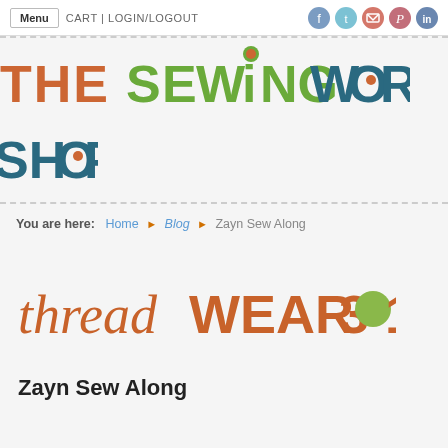Menu  CART | LOGIN/LOGOUT
[Figure (logo): The Sewing Workshop logo with colorful lettering — orange, green, and teal]
You are here:  Home ▶ Blog ▶ Zayn Sew Along
[Figure (logo): threadWEAR 301 logo in orange/brown with a green circle for the letter O]
Zayn Sew Along